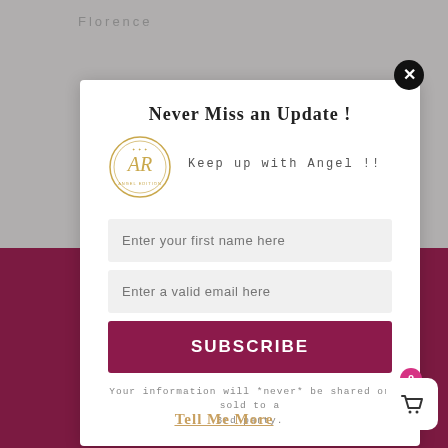Florence
[Figure (screenshot): Email subscription modal popup with close button, logo, name and email input fields, subscribe button, and privacy notice]
Never Miss an Update !
Keep up with Angel !!
[Figure (logo): Angel Edition circular logo in gold]
Enter your first name here
Enter a valid email here
SUBSCRIBE
Your information will *never* be shared or sold to a 3rd party.
Tell Me More